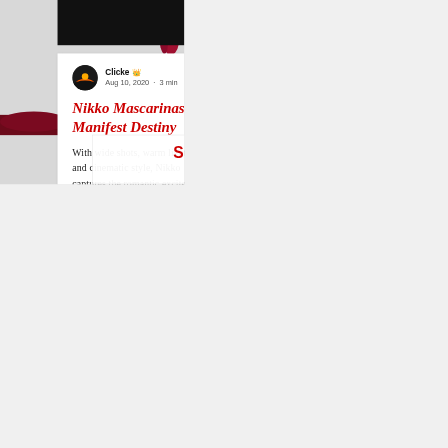[Figure (screenshot): Blog post card screenshot with author avatar (Clicke), date Aug 10, 2020, 3 min read, red italic title 'Nikko Mascarinas: Manifest Destiny', and excerpt text. Background has red paint splash decorative elements.]
Nikko Mascarinas: Manifest Destiny
With wide shots, warm lighting, and cinematic style, Nikko captures the romantic excitem...
SUBSCRIBE TO DAI...